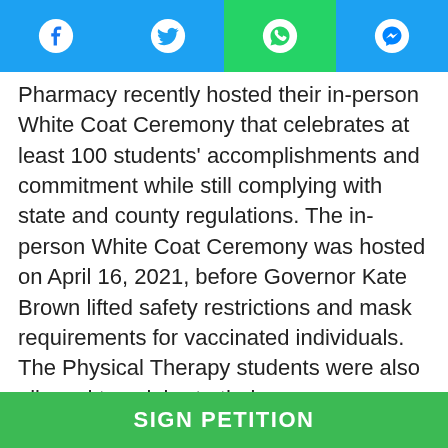Social share bar with Facebook, Twitter, WhatsApp, Messenger icons
Pharmacy recently hosted their in-person White Coat Ceremony that celebrates at least 100 students' accomplishments and commitment while still complying with state and county regulations. The in-person White Coat Ceremony was hosted on April 16, 2021, before Governor Kate Brown lifted safety restrictions and mask requirements for vaccinated individuals. The Physical Therapy students were also allowed to celebrate their accomplishments outside on May 15h, 2021. The Dental Hygiene class cohort consists of ONLY 33 students, far less than most CHP programs. It is essential to consider that students were mandated to get fully vaccinated unless presented with medical conditions that
SIGN PETITION